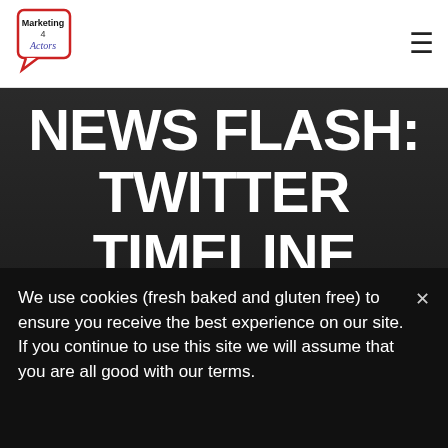[Figure (logo): Marketing 4 Actors logo — speech bubble outline with red border, text inside: 'Marketing 4 Actors' in mixed fonts]
≡
NEWS FLASH: TWITTER TIMELINE CHANGE
We use cookies (fresh baked and gluten free) to ensure you receive the best experience on our site. If you continue to use this site we will assume that you are all good with our terms.